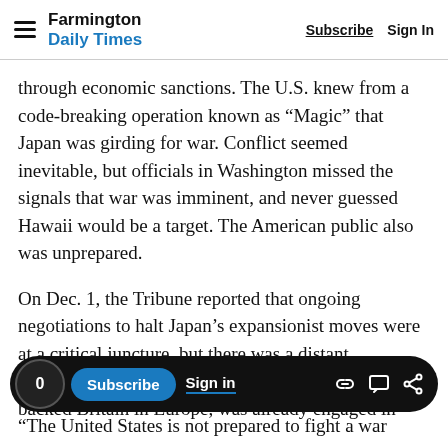Farmington Daily Times — Subscribe | Sign In
through economic sanctions. The U.S. knew from a code-breaking operation known as “Magic” that Japan was girding for war. Conflict seemed inevitable, but officials in Washington missed the signals that war was imminent, and never guessed Hawaii would be a target. The American public also was unprepared.
On Dec. 1, the Tribune reported that ongoing negotiations to halt Japan’s expansionist moves were at a critical juncture, but there was a distant, theoretical tone to the warning. The U.S., having backed Britain in Europe, was already engaged in
“The United States is not prepared to fight a war